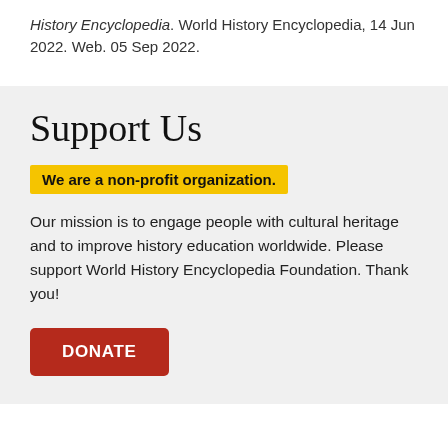History Encyclopedia. World History Encyclopedia, 14 Jun 2022. Web. 05 Sep 2022.
Support Us
We are a non-profit organization.
Our mission is to engage people with cultural heritage and to improve history education worldwide. Please support World History Encyclopedia Foundation. Thank you!
DONATE